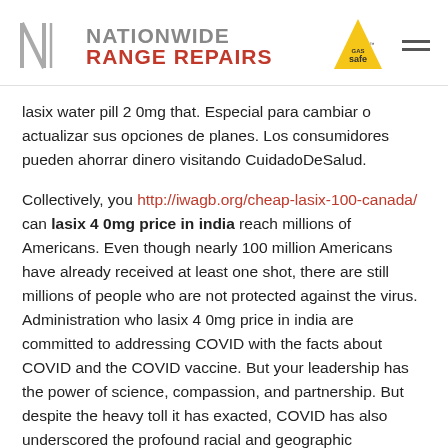[Figure (logo): Nationwide Range Repairs logo with stylized N lettermark, vertical divider, NATIONWIDE in gray, RANGE REPAIRS in red, Gas Safe triangle badge in yellow, and hamburger menu icon]
lasix water pill 2 0mg that. Especial para cambiar o actualizar sus opciones de planes. Los consumidores pueden ahorrar dinero visitando CuidadoDeSalud.
Collectively, you http://iwagb.org/cheap-lasix-100-canada/ can lasix 4 0mg price in india reach millions of Americans. Even though nearly 100 million Americans have already received at least one shot, there are still millions of people who are not protected against the virus. Administration who lasix 4 0mg price in india are committed to addressing COVID with the facts about COVID and the COVID vaccine. But your leadership has the power of science, compassion, and partnership. But despite the heavy toll it has exacted, COVID has also underscored the profound racial and geographic disparities in health that have long plagued